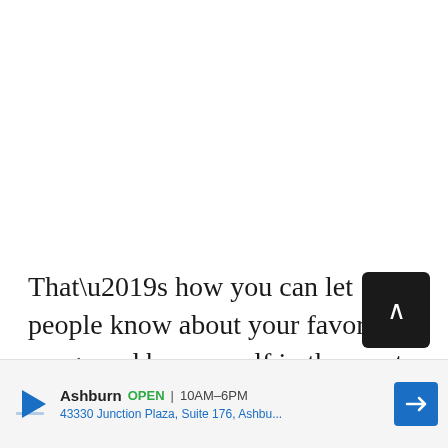That’s how you can let people know about your favorite songs and be yourself in the most authentic way. Let us know what songs you’ve pinned to your Facebook profile. You can do this in the comments below.
[Figure (other): Advertisement banner for Loyal Ashburn store: OPEN 10AM-6PM, 43330 Junction Plaza, Suite 176, Ashbu...]